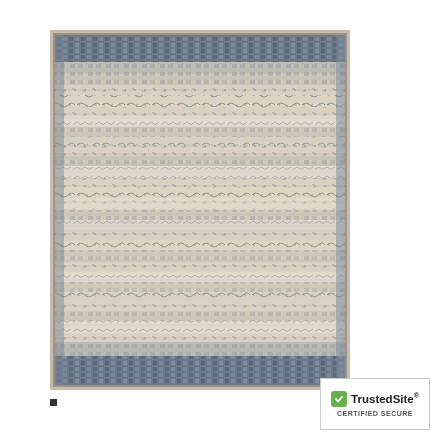[Figure (photo): A decorative area rug with geometric and tribal patterns in cream/ivory and blue-grey tones. The rug features horizontal bands of intricate repeating motifs, with a darker border at top and bottom and a lighter cream field in the center.]
[Figure (logo): TrustedSite CERTIFIED SECURE badge with green checkmark icon]